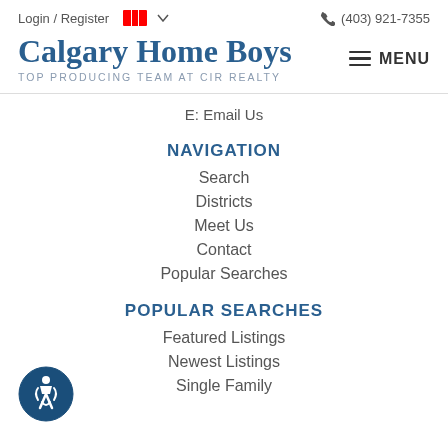Login / Register  (403) 921-7355
Calgary Home Boys
TOP PRODUCING TEAM AT CIR REALTY
E: Email Us
NAVIGATION
Search
Districts
Meet Us
Contact
Popular Searches
POPULAR SEARCHES
Featured Listings
Newest Listings
Single Family